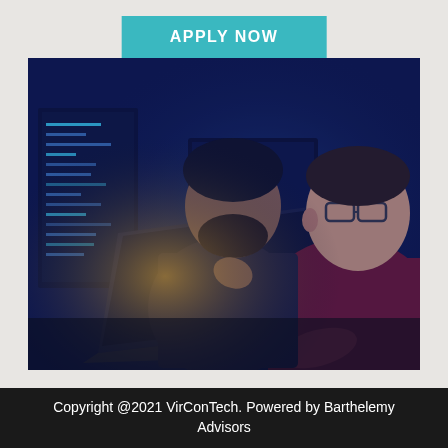APPLY NOW
[Figure (photo): Two developers collaborating in a dark room lit by blue light from multiple monitors showing code, one person wearing glasses looking at a laptop while the other in a red shirt leans in]
Copyright @2021 VirConTech. Powered by Barthelemy Advisors